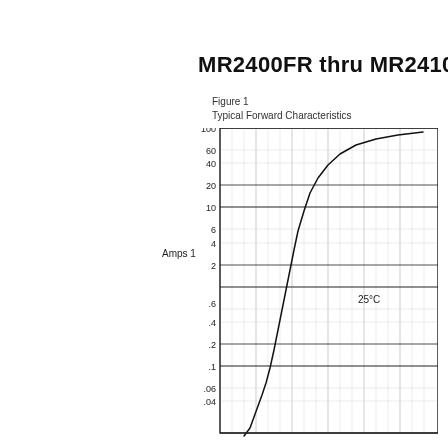MR2400FR thru MR2410FR
Figure 1
Typical Forward Characteristics
[Figure (continuous-plot): Log-log plot of Typical Forward Characteristics for MR2400FR thru MR2410FR diodes. Y-axis (Amps) ranges from 0.04 to 100 on a logarithmic scale. X-axis (Volts) is cut off at bottom. A single curve labeled 25°C shows diode forward current vs forward voltage, rising steeply from lower left to upper right.]